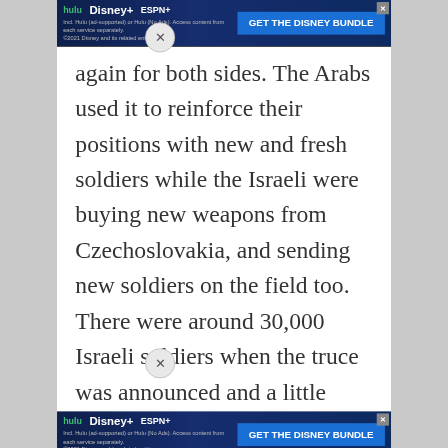[Figure (screenshot): Disney Bundle advertisement banner (Hulu, Disney+, ESPN+) with dark blue gradient background, GET THE DISNEY BUNDLE CTA button, and fine print about Hulu plans. Appears twice on page.]
again for both sides. The Arabs used it to reinforce their positions with new and fresh soldiers while the Israeli were buying new weapons from Czechoslovakia, and sending new soldiers on the field too. There were around 30,000 Israeli soldiers when the truce was announced and a little bit more than 65,000 when the truce e Bernadotte was trying to find a way to
[Figure (screenshot): Disney Bundle advertisement banner (Hulu, Disney+, ESPN+) with dark blue gradient background, GET THE DISNEY BUNDLE CTA button, and fine print about Hulu plans. Bottom banner.]